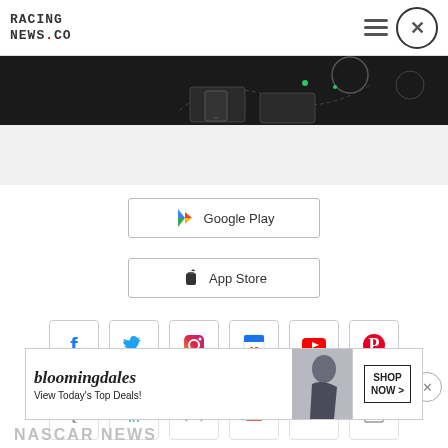RACING NEWS.CO
[Figure (screenshot): Dark banner advertisement with game or app graphic]
[Figure (screenshot): Google Play store download button]
[Figure (screenshot): Apple App Store download button]
[Figure (screenshot): Social media icons row 1: Facebook, Twitter, Instagram, Google, YouTube, Pinterest]
[Figure (screenshot): Social media icons row 2: partially visible icons]
[Figure (screenshot): Bloomingdale's advertisement banner: View Today's Top Deals! SHOP NOW >]
NASCAR NEWS